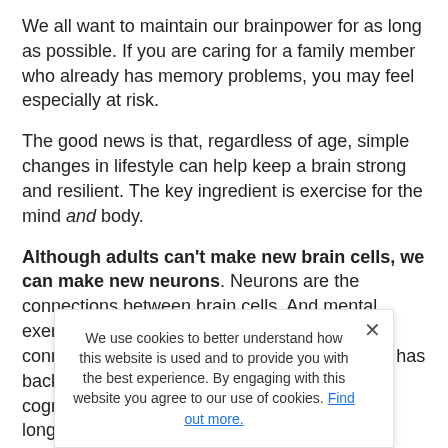We all want to maintain our brainpower for as long as possible. If you are caring for a family member who already has memory problems, you may feel especially at risk.
The good news is that, regardless of age, simple changes in lifestyle can help keep a brain strong and resilient. The key ingredient is exercise for the mind and body.
Although adults can’t make new brain cells, we can make new neurons. Neurons are the connections between brain cells. And mental exercise sparks the creation of new neural connections. With more connections, the brain has back-up options, or “cognitive reserve.” And cognitive reserve helps a brain do better for longer.
Is a “brain game” the best method to help preserve clear thinking? Not necessarily. Brain games improve a person’s ability to do specific tasks if they have not
We use cookies to better understand how this website is used and to provide you with the best experience. By engaging with this website you agree to our use of cookies. Find out more.